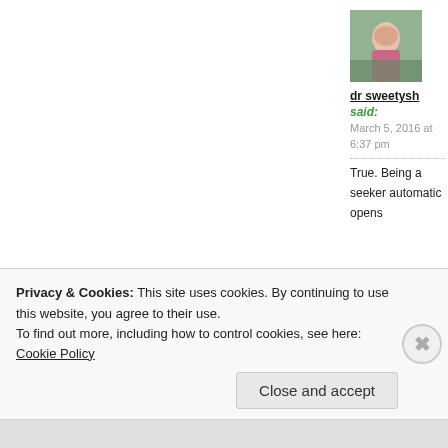[Figure (photo): Avatar photo of user dr sweetysh, showing a person outdoors in pink jacket]
dr sweetysh
said:
March 5, 2016 at 6:37 pm
True. Being a seeker automatically opens
Privacy & Cookies: This site uses cookies. By continuing to use this website, you agree to their use.
To find out more, including how to control cookies, see here: Cookie Policy
Close and accept